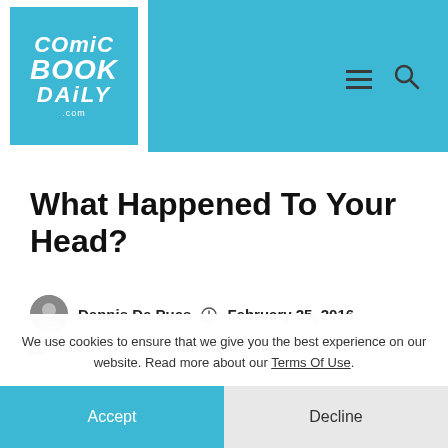Comic Book Daily — navigation header with logo, hamburger menu, and search icon
What Happened To Your Head?
Dennis De Pues   February 25, 2016
Tales from The Comicdenn   2
I recently picked up the 18 issue run of the great Silver Age Silver Surfer series! Now, I was ten years old when
We use cookies to ensure that we give you the best experience on our website. Read more about our Terms Of Use.
Accept   Decline